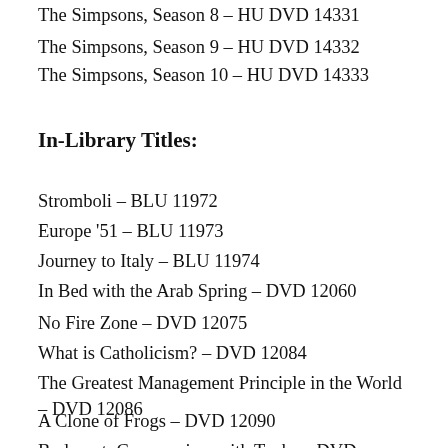The Simpsons, Season 8 – HU DVD 14331
The Simpsons, Season 9 – HU DVD 14332
The Simpsons, Season 10 – HU DVD 14333
In-Library Titles:
Stromboli – BLU 11972
Europe '51 – BLU 11973
Journey to Italy – BLU 11974
In Bed with the Arab Spring – DVD 12060
No Fire Zone – DVD 12075
What is Catholicism? – DVD 12084
The Greatest Management Principle in the World – DVD 12086
A Clone of Frogs – DVD 12090
Budapest: Communism with Tanks – DVD